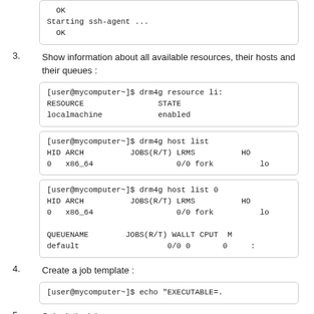OK
Starting ssh-agent ...
  OK
3. Show information about all available resources, their hosts and their queues :
[user@mycomputer~]$ drm4g resource li:
RESOURCE                STATE
localmachine            enabled
[user@mycomputer~]$ drm4g host list
HID ARCH          JOBS(R/T) LRMS          HO
0   x86_64                  0/0 fork          lo
[user@mycomputer~]$ drm4g host list 0
HID ARCH          JOBS(R/T) LRMS          HO
0   x86_64                  0/0 fork          lo

QUEUENAME        JOBS(R/T) WALLT CPUT  M
default                   0/0 0       0     :
4. Create a job template :
[user@mycomputer~]$ echo "EXECUTABLE=.
5. Submit the job :
[user@mycomputer~]$ drm4g job submit